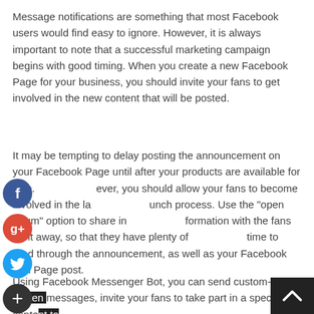Message notifications are something that most Facebook users would find easy to ignore. However, it is always important to note that a successful marketing campaign begins with good timing. When you create a new Facebook Page for your business, you should invite your fans to get involved in the new content that will be posted.
It may be tempting to delay posting the announcement on your Facebook Page until after your products are available for sale. However, you should allow your fans to become involved in the launch process. Use the "open forum" option to share information with the fans right away, so that they have plenty of time to read through the announcement, as well as your Facebook Fan Page post.
Using Facebook Messenger Bot, you can send custom-written messages, invite your fans to take part in a special conte...
[Figure (other): Social media share buttons: Facebook (blue), Google+ (red), Twitter (blue), Add/Plus (dark)]
[Figure (other): Scroll-to-top button with upward arrow, dark background, bottom-right corner]